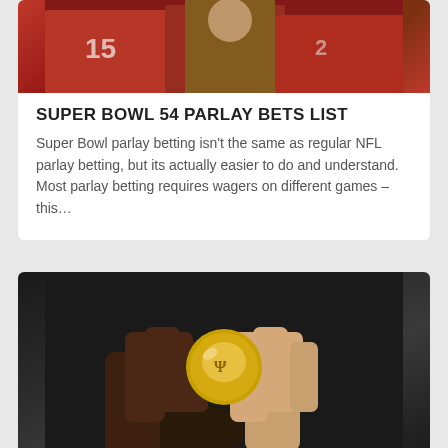[Figure (photo): NFL players in red Kansas City Chiefs uniforms, photo cropped showing upper portion]
SUPER BOWL 54 PARLAY BETS LIST
Super Bowl parlay betting isn't the same as regular NFL parlay betting, but its actually easier to do and understand. Most parlay betting requires wagers on different games – this…
[Figure (photo): Close-up of hands holding a coin, Super Bowl coin toss coin]
SUPER BOWL 54 COIN TOSS SURE THING...